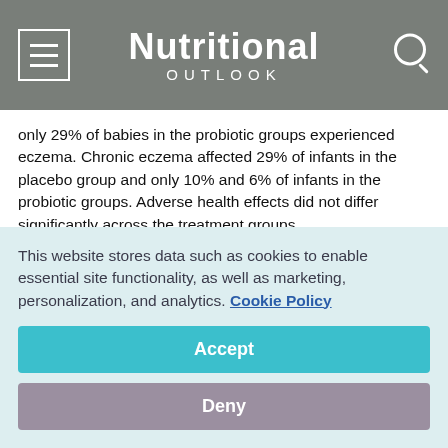Nutritional OUTLOOK
only 29% of babies in the probiotic groups experienced eczema. Chronic eczema affected 29% of infants in the placebo group and only 10% and 6% of infants in the probiotic groups. Adverse health effects did not differ significantly across the treatment groups.
While the study adds to mounting evidence of a potential for probiotic support against allergies, the extent of available science still remains controversial. It is still too early to understand how widespread probiotic use could benefit the human population in this way because global markets offer a wide range of probiotics
This website stores data such as cookies to enable essential site functionality, as well as marketing, personalization, and analytics. Cookie Policy
Accept
Deny